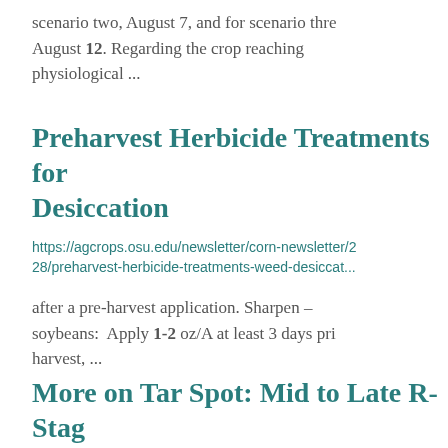scenario two, August 7, and for scenario three, August 12. Regarding the crop reaching physiological ...
Preharvest Herbicide Treatments for Desiccation
https://agcrops.osu.edu/newsletter/corn-newsletter/2.../28/preharvest-herbicide-treatments-weed-desiccat...
after a pre-harvest application. Sharpen – soybeans: Apply 1-2 oz/A at least 3 days prior to harvest, ...
More on Tar Spot: Mid to Late R-Stage Fungicide Application